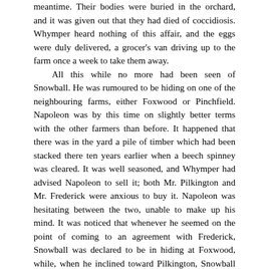meantime. Their bodies were buried in the orchard, and it was given out that they had died of coccidiosis. Whymper heard nothing of this affair, and the eggs were duly delivered, a grocer's van driving up to the farm once a week to take them away.
	All this while no more had been seen of Snowball. He was rumoured to be hiding on one of the neighbouring farms, either Foxwood or Pinchfield. Napoleon was by this time on slightly better terms with the other farmers than before. It happened that there was in the yard a pile of timber which had been stacked there ten years earlier when a beech spinney was cleared. It was well seasoned, and Whymper had advised Napoleon to sell it; both Mr. Pilkington and Mr. Frederick were anxious to buy it. Napoleon was hesitating between the two, unable to make up his mind. It was noticed that whenever he seemed on the point of coming to an agreement with Frederick, Snowball was declared to be in hiding at Foxwood, while, when he inclined toward Pilkington, Snowball was said to be at Pinchfield.
	Suddenly, early in the spring, an alarming thing was discovered. Snowball was secretly frequenting the farm by night! The animals were so disturbed that they could hardly sleep in their stalls. Every night, it was said, he came creeping in under cover of darkness and performed all kinds of mischief. He stole the corn, he upset the milk-pails, he broke the eggs, he trampled the seedbeds, he gnawed the bark off the fruit trees. Whenever anything went wrong it became usual to attribute it to Snowball. If a window was broken or a drain was stopped up, someone was certain to say that